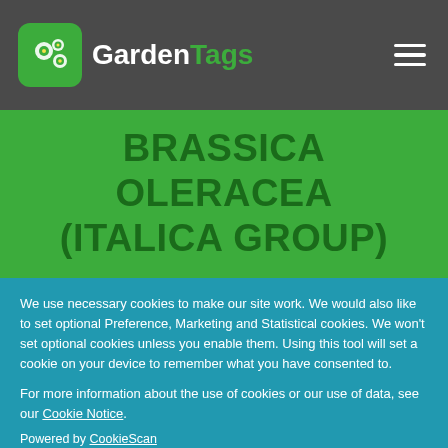[Figure (logo): GardenTags logo with green icon and text on dark grey navigation bar]
BRASSICA OLERACEA (ITALICA GROUP)
We use necessary cookies to make our site work. We would also like to set optional Preference, Marketing and Statistical cookies. We won't set optional cookies unless you enable them. Using this tool will set a cookie on your device to remember what you have consented to.
For more information about the use of cookies or our use of data, see our Cookie Notice.
Powered by CookieScan
Allow All Cookies and Reload
Or Select Your Own Preferences